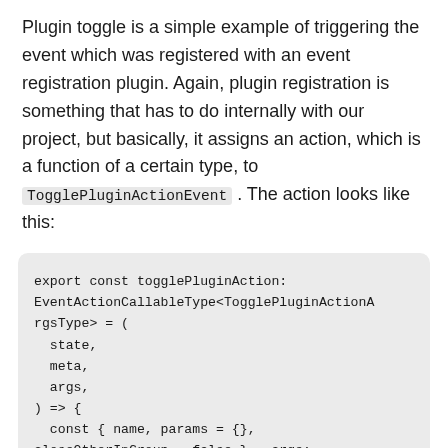Plugin toggle is a simple example of triggering the event which was registered with an event registration plugin. Again, plugin registration is something that has to do internally with our project, but basically, it assigns an action, which is a function of a certain type, to TogglePluginActionEvent . The action looks like this:
[Figure (screenshot): Code block showing TypeScript export const togglePluginAction function definition with parameters state, meta, args, destructuring name/params/closeOtherInGroup, and plugin lookup with error handling.]